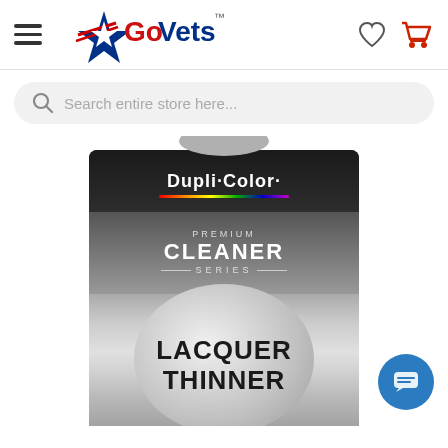[Figure (logo): GoVets logo with star graphic and hamburger menu, wishlist heart icon, and shopping cart icon in header]
[Figure (screenshot): Search bar with placeholder text 'Search entire store here...']
[Figure (photo): Dupli-Color Premium Cleaner Series Lacquer Thinner product can, dark label with silver/gray design]